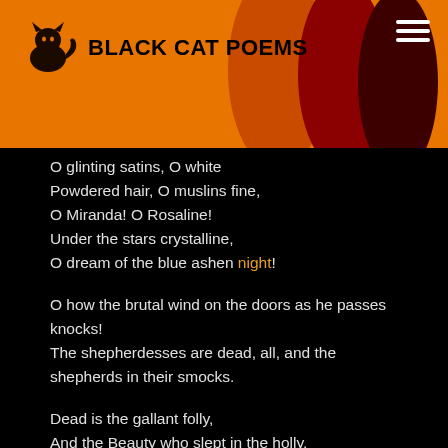BLACK CAT POEMS
O glinting satins, O white
Powdered hair, O muslins fine,
O Miranda! O Rosaline!
Under the stars crystalline,
O dream of the blue ashen night!

O how the brutal wind on the doors as he passes knocks!
The shepherdesses are dead, all, and the shepherds in their smocks.

Dead is the gallant folly,
And the Beauty who slept in the holly,
Deep in its age-tangled bowers;
And dead are the sweet-scented flowers!

And thou, O melancholy,